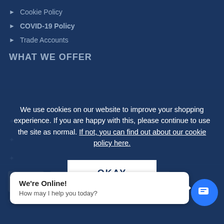Cookie Policy
COVID-19 Policy
Trade Accounts
WHAT WE OFFER
We use cookies on our website to improve your shopping experience. If you are happy with this, please continue to use the site as normal. If not, you can find out about our cookie policy here.
[Figure (screenshot): OKAY button for cookie consent]
[Figure (infographic): Payment icons: VISA, PayPal, Maestro, Mastercard]
©Copyright 2013-PRESE[NT]
[Figure (screenshot): Chat widget: We're Online! How may I help you today?]